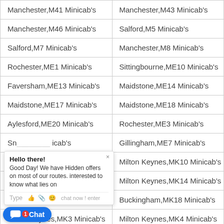| Manchester,M41 Minicab's | Manchester,M43 Minicab's |
| Manchester,M46 Minicab's | Salford,M5 Minicab's |
| Salford,M7 Minicab's | Manchester,M8 Minicab's |
| Rochester,ME1 Minicab's | Sittingbourne,ME10 Minicab's |
| Faversham,ME13 Minicab's | Maidstone,ME14 Minicab's |
| Maidstone,ME17 Minicab's | Maidstone,ME18 Minicab's |
| Aylesford,ME20 Minicab's | Rochester,ME3 Minicab's |
| Snodland,ME6 Minicab's | Gillingham,ME7 Minicab's |
| Milton Keynes,MK1 Minicab's | Milton Keynes,MK10 Minicab's |
| Milton Keynes,MK13 Minicab's | Milton Keynes,MK14 Minicab's |
| Milton Keynes,MK17 Minicab's | Buckingham,MK18 Minicab's |
| Milton Keynes,MK3 Minicab's | Milton Keynes,MK4 Minicab's |